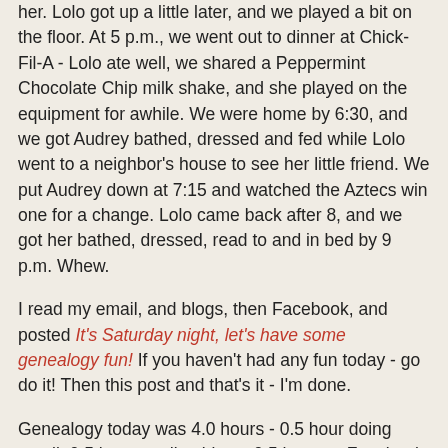her. Lolo got up a little later, and we played a bit on the floor. At 5 p.m., we went out to dinner at Chick-Fil-A - Lolo ate well, we shared a Peppermint Chocolate Chip milk shake, and she played on the equipment for awhile. We were home by 6:30, and we got Audrey bathed, dressed and fed while Lolo went to a neighbor's house to see her little friend. We put Audrey down at 7:15 and watched the Aztecs win one for a change. Lolo came back after 8, and we got her bathed, dressed, read to and in bed by 9 p.m. Whew.
I read my email, and blogs, then Facebook, and posted It's Saturday night, let's have some genealogy fun! If you haven't had any fun today - go do it! Then this post and that's it - I'm done.
Genealogy today was 4.0 hours - 0.5 hour doing email, 0.5 hour reading blogs, 0.5 hour on Facebook, 0.5 hour on CVGS things, and 2.0 hours writing blog posts.
Randy Seaver at 9:57 PM   No comments:
FRIDAY, NOVEMBER 21, 2008